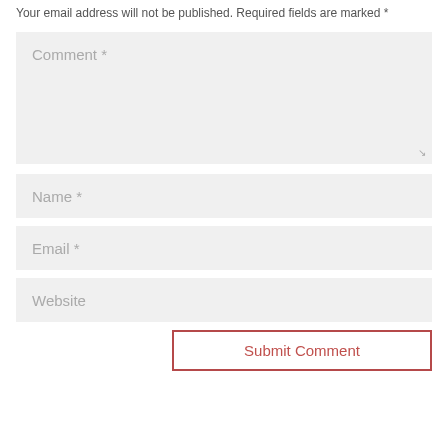Your email address will not be published. Required fields are marked *
Comment *
Name *
Email *
Website
Submit Comment